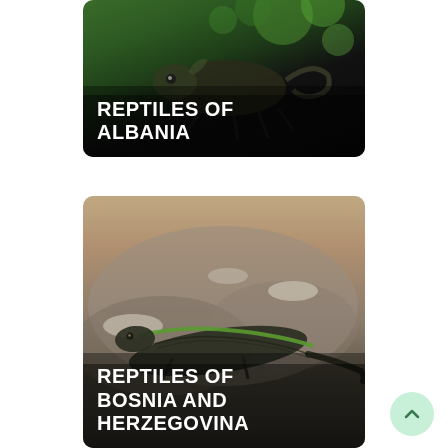[Figure (photo): Close-up photo of a chameleon on a dark mossy branch with green bokeh background, card titled REPTILES OF ALBANIA]
REPTILES OF ALBANIA
[Figure (photo): Close-up photo of a lizard with green stripe on rocky surface, card titled REPTILES OF BOSNIA AND HERZEGOVINA]
REPTILES OF BOSNIA AND HERZEGOVINA